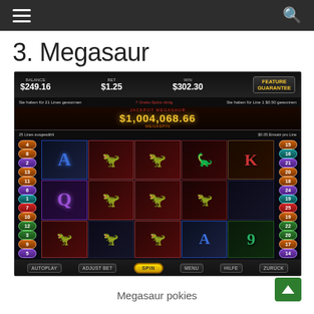Navigation header with hamburger menu and search icon
3. Megasaur
[Figure (screenshot): Screenshot of Megasaur pokies/slot machine game showing balance $249.16, bet $1.25, win $302.30, jackpot $1,004,068.66 with dinosaur symbols on reels]
Megasaur pokies